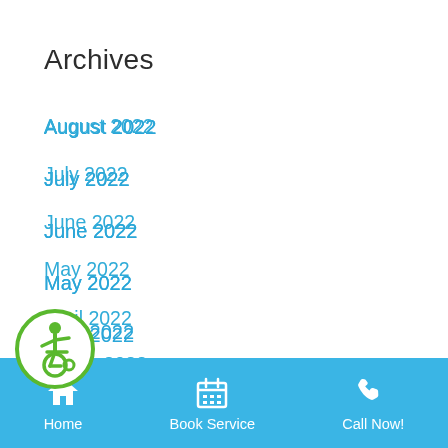Archives
August 2022
July 2022
June 2022
May 2022
April 2022
March 2022
February 2022
January 2022
December 2021
[Figure (illustration): Accessibility wheelchair icon in a green circle, bottom left overlay]
Home   Book Service   Call Now!